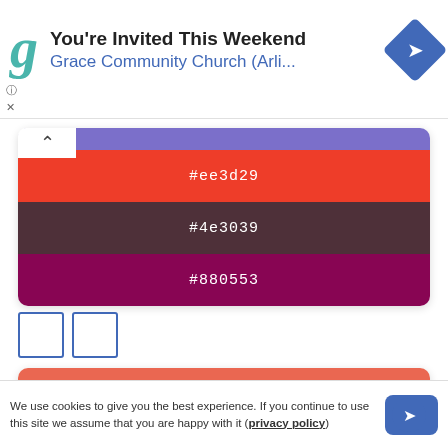[Figure (screenshot): Ad banner with teal G logo, title 'You're Invited This Weekend', subtitle 'Grace Community Church (Arli...', and blue diamond navigation icon]
[Figure (infographic): Color palette with strips: purple-blue top, red-orange #ee3d29, dark maroon #4e3039, dark purple-magenta #880553]
[Figure (infographic): Two empty blue-outlined squares]
[Figure (infographic): Color palette with strips: coral #ea6751, muted rose-gray #865858, dark red #861c18, very dark brown #462f2d]
We use cookies to give you the best experience. If you continue to use this site we assume that you are happy with it (privacy policy)